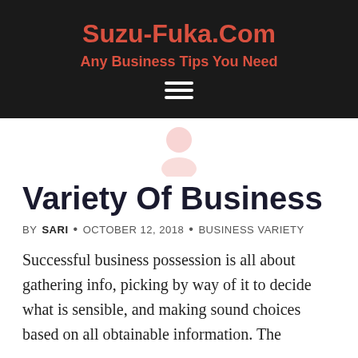Suzu-Fuka.Com
Any Business Tips You Need
[Figure (illustration): Hamburger menu icon (three horizontal white lines) in dark header bar]
[Figure (illustration): Light pink person/user avatar icon centered on white background]
Variety Of Business
BY SARI • OCTOBER 12, 2018 • BUSINESS VARIETY
Successful business possession is all about gathering info, picking by way of it to decide what is sensible, and making sound choices based on all obtainable information. The